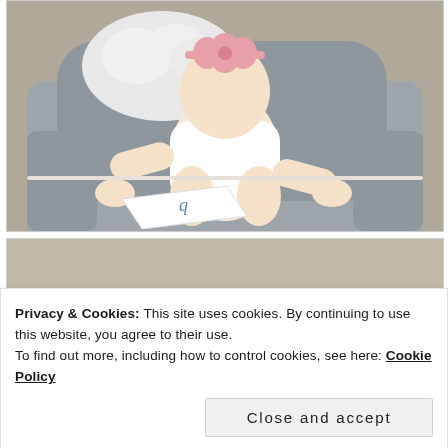[Figure (photo): A baby girl wearing a white onesie and pink bow headband, crawling on a grey upholstered armchair. There is a fluffy white pillow in the background. A white card with a blue letter 'q' logo is on the chair arm in front of the baby.]
[Figure (photo): Partial view of a second photo below the first, showing a beige/tan background, partially obscured by the cookie consent banner.]
Privacy & Cookies: This site uses cookies. By continuing to use this website, you agree to their use.
To find out more, including how to control cookies, see here: Cookie Policy
Close and accept
Follow